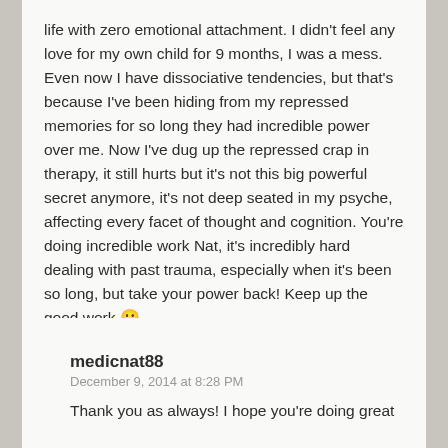life with zero emotional attachment. I didn't feel any love for my own child for 9 months, I was a mess. Even now I have dissociative tendencies, but that's because I've been hiding from my repressed memories for so long they had incredible power over me. Now I've dug up the repressed crap in therapy, it still hurts but it's not this big powerful secret anymore, it's not deep seated in my psyche, affecting every facet of thought and cognition. You're doing incredible work Nat, it's incredibly hard dealing with past trauma, especially when it's been so long, but take your power back! Keep up the good work 🙂
Liked by 1 person
medicnat88
December 9, 2014 at 8:28 PM
Thank you as always! I hope you're doing great